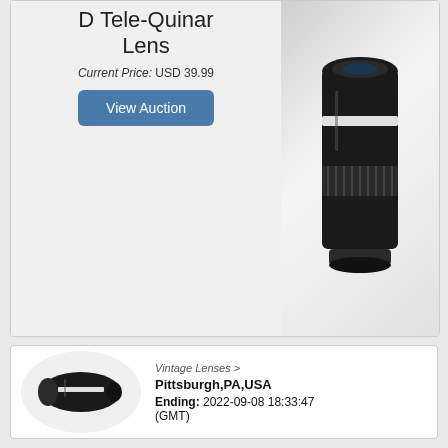D Tele-Quinar Lens
Current Price: USD 39.99
[Figure (photo): Black telephoto lens (D Tele-Quinar) on white background, photographed diagonally]
View Auction
[Figure (photo): Small black lens thumbnail shown within an oval/ellipse shape]
Vintage Lenses >
Pittsburgh,PA,USA
Ending: 2022-09-08 18:33:47 (GMT)